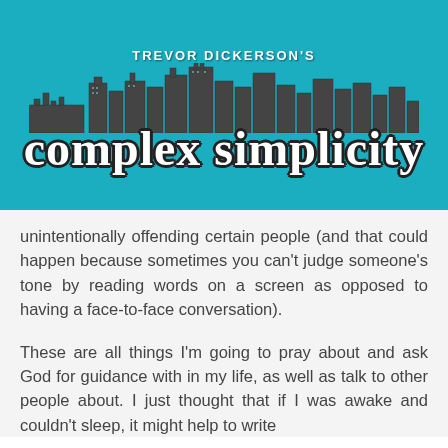[Figure (logo): Trevor Dickerson's Complex Simplicity blog logo — white text 'TREVOR DICKERSON'S' above a city skyline illustration, with large cursive script 'complex simplicity' overlaid, on a teal/cyan background.]
unintentionally offending certain people (and that could happen because sometimes you can't judge someone's tone by reading words on a screen as opposed to having a face-to-face conversation).
These are all things I'm going to pray about and ask God for guidance with in my life, as well as talk to other people about. I just thought that if I was awake and couldn't sleep, it might help to write